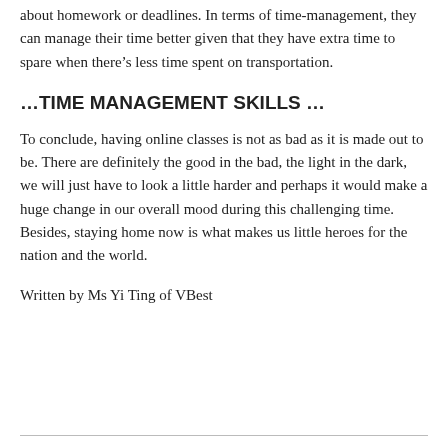about homework or deadlines. In terms of time-management, they can manage their time better given that they have extra time to spare when there's less time spent on transportation.
…TIME MANAGEMENT SKILLS …
To conclude, having online classes is not as bad as it is made out to be. There are definitely the good in the bad, the light in the dark, we will just have to look a little harder and perhaps it would make a huge change in our overall mood during this challenging time. Besides, staying home now is what makes us little heroes for the nation and the world.
Written by Ms Yi Ting of VBest